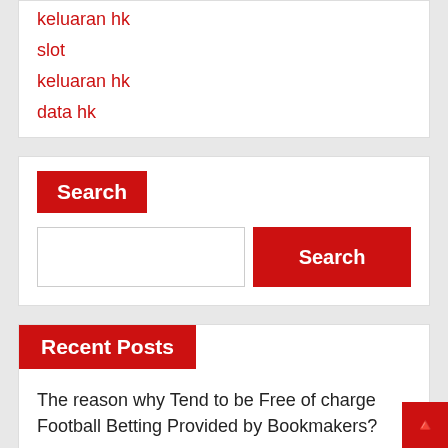keluaran hk
slot
keluaran hk
data hk
Search
Recent Posts
The reason why Tend to be Free of charge Football Betting Provided by Bookmakers?